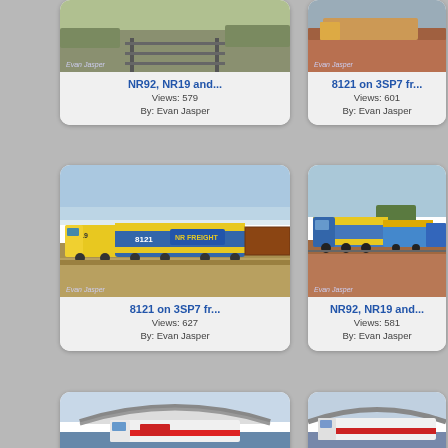[Figure (photo): Partial view of train photo - NR92, NR19 locomotive on track, photo by Evan Jasper]
NR92, NR19 and...
Views: 579
By: Evan Jasper
[Figure (photo): Partial view of train photo - 8121 on 3SP7 freight, photo by Evan Jasper]
8121 on 3SP7 fr...
Views: 601
By: Evan Jasper
[Figure (photo): Train photo - 8121 on 3SP7 freight, NR19 locomotive yellow and blue, photo by Evan Jasper]
8121 on 3SP7 fr...
Views: 627
By: Evan Jasper
[Figure (photo): Train photo - NR92, NR19 and other locomotives, photo by Evan Jasper]
NR92, NR19 and...
Views: 581
By: Evan Jasper
[Figure (photo): Partial view of bottom-row train photo, white/red locomotive under bridge]
[Figure (photo): Partial view of bottom-row train photo, white/red locomotive]